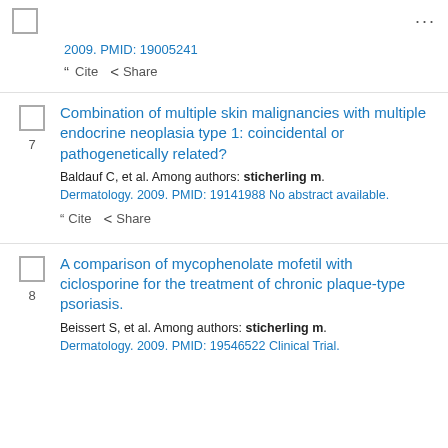checkbox | ...
2009. PMID: 19005241
" Cite  < Share
7. Combination of multiple skin malignancies with multiple endocrine neoplasia type 1: coincidental or pathogenetically related? Baldauf C, et al. Among authors: sticherling m. Dermatology. 2009. PMID: 19141988 No abstract available.
" Cite  < Share
8. A comparison of mycophenolate mofetil with ciclosporine for the treatment of chronic plaque-type psoriasis. Beissert S, et al. Among authors: sticherling m. Dermatology. 2009. PMID: 19546522 Clinical Trial.